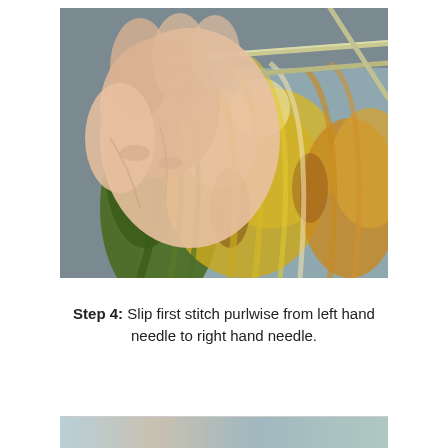[Figure (photo): Close-up photo of hands holding knitting needles with colorful yarn in green, yellow, cream, and orange colors, showing a knitting stitch being worked purlwise.]
Step 4: Slip first stitch purlwise from left hand needle to right hand needle.
[Figure (photo): Partial view of another knitting step photo at the bottom of the page.]